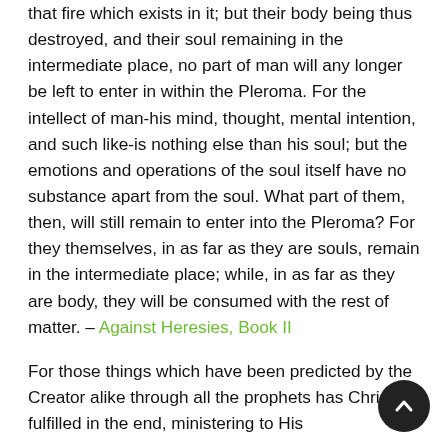that fire which exists in it; but their body being thus destroyed, and their soul remaining in the intermediate place, no part of man will any longer be left to enter in within the Pleroma. For the intellect of man-his mind, thought, mental intention, and such like-is nothing else than his soul; but the emotions and operations of the soul itself have no substance apart from the soul. What part of them, then, will still remain to enter into the Pleroma? For they themselves, in as far as they are souls, remain in the intermediate place; while, in as far as they are body, they will be consumed with the rest of matter. – Against Heresies, Book II
For those things which have been predicted by the Creator alike through all the prophets has Christ fulfilled in the end, ministering to His